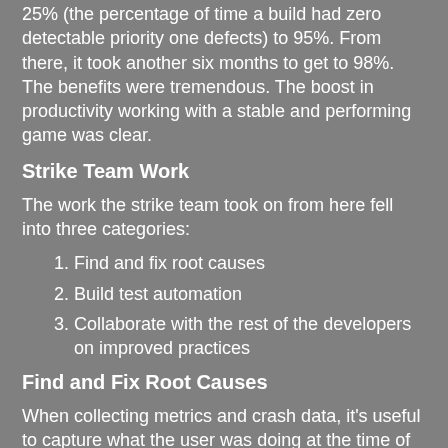25% (the percentage of time a build had zero detectable priority one defects) to 95%. From there, it took another six months to get to 98%. The benefits were tremendous. The boost in productivity working with a stable and performing game was clear.
Strike Team Work
The work the strike team took on from here fell into three categories:
Find and fix root causes
Build test automation
Collaborate with the rest of the developers on improved practices
Find and Fix Root Causes
When collecting metrics and crash data, it's useful to capture what the user was doing at the time of the crash. Using that information, the team can categorize the causes and, using root cause analysis, identify the most impactful culprits. In this example, the team found that poorly named assets were